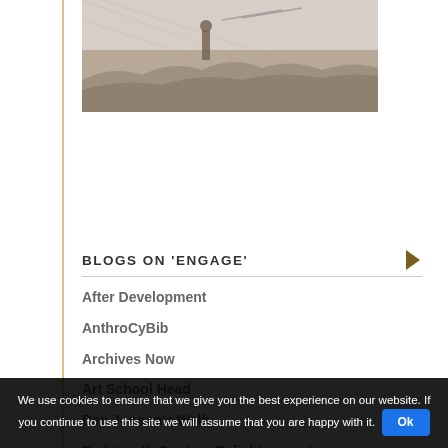[Figure (illustration): Historical engraving showing a figure in period clothing in a landscape, grey/brown tones]
BLOGS ON 'ENGAGE'
After Development
AnthroCyBib
Archives Now
Art School Head
Ben Jonson's Walk
Eighteenth Century Enlightenment
Nursing Tales
We use cookies to ensure that we give you the best experience on our website. If you continue to use this site we will assume that you are happy with it.